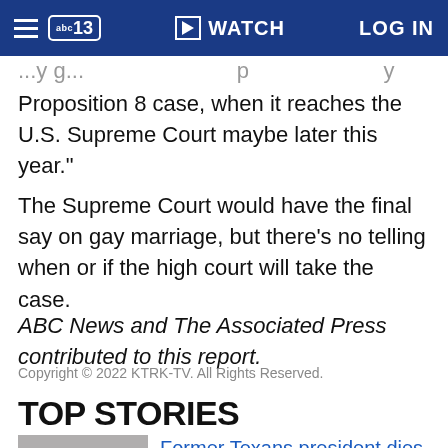abc13 | WATCH | LOG IN
Proposition 8 case, when it reaches the U.S. Supreme Court maybe later this year."
The Supreme Court would have the final say on gay marriage, but there's no telling when or if the high court will take the case.
ABC News and The Associated Press contributed to this report.
Copyright © 2022 KTRK-TV. All Rights Reserved.
TOP STORIES
Former Texans president dies after mental health battle, wife says
Updated 36 minutes ago